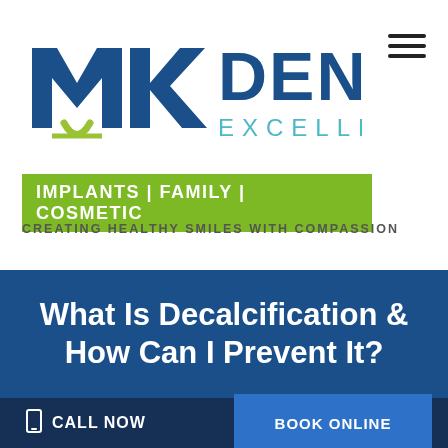[Figure (logo): MK Dental Excellence logo with stylized MK letters in blue and green, text reads DENTAL EXCELLENCE]
[Figure (other): Hamburger menu icon (three horizontal lines) in top right]
IMPLANTS | FAMILY | COSMETIC
CREATING HEALTHY SMILES WITH COMPASSION
What Is Decalcification & How Can I Prevent It?
CALL NOW
BOOK ONLINE